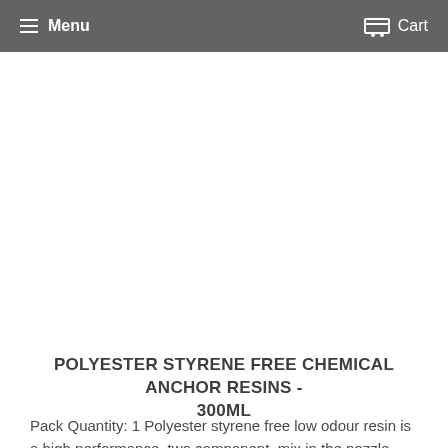Menu  Cart
[Figure (other): White blank product image area]
POLYESTER STYRENE FREE CHEMICAL ANCHOR RESINS - 300ML
Pack Quantity: 1 Polyester styrene free low odour resin is a high performance, two component, mix in the nozzle resin